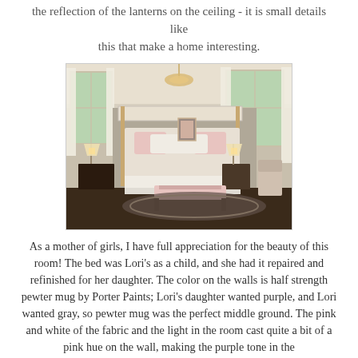the reflection of the lanterns on the ceiling - it is small details like this that make a home interesting.
[Figure (photo): Interior bedroom photo showing a four-poster canopy bed with white/cream bedding, pink accent pillows, matching nightstands with lamps, tall windows with white curtains, a chandelier, a bench at the foot of the bed, and an area rug on dark hardwood floors.]
As a mother of girls, I have full appreciation for the beauty of this room! The bed was Lori's as a child, and she had it repaired and refinished for her daughter. The color on the walls is half strength pewter mug by Porter Paints; Lori's daughter wanted purple, and Lori wanted gray, so pewter mug was the perfect middle ground. The pink and white of the fabric and the light in the room cast quite a bit of a pink hue on the wall, making the purple tone in the